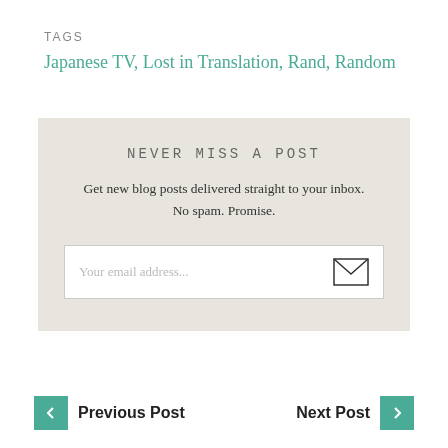TAGS
Japanese TV, Lost in Translation, Rand, Random
[Figure (other): Newsletter signup box with title 'NEVER MISS A POST', description text, and email input field with envelope icon]
Previous Post
Next Post